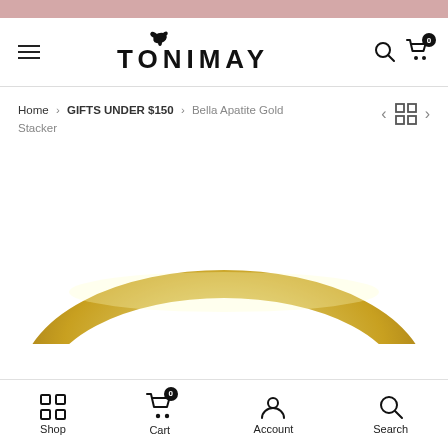TONIMAY — navigation header with hamburger menu, logo, search and cart icons
Home > GIFTS UNDER $150 > Bella Apatite Gold Stacker
[Figure (photo): Close-up photo of a gold stacker ring (Bella Apatite Gold Stacker) showing the top arc of a polished gold band ring against a white background]
Shop  Cart  Account  Search — bottom navigation bar